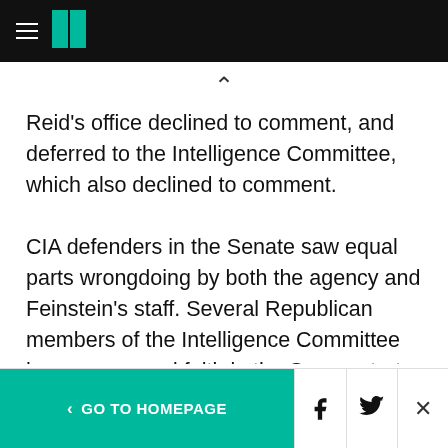HuffPost navigation header
Reid’s office declined to comment, and deferred to the Intelligence Committee, which also declined to comment.
CIA defenders in the Senate saw equal parts wrongdoing by both the agency and Feinstein’s staff. Several Republican members of the Intelligence Committee have expressed faith in the Sergeant-at-Arms probe, and said judgment needed to be held until that investigation ended.
< GO TO HOMEPAGE